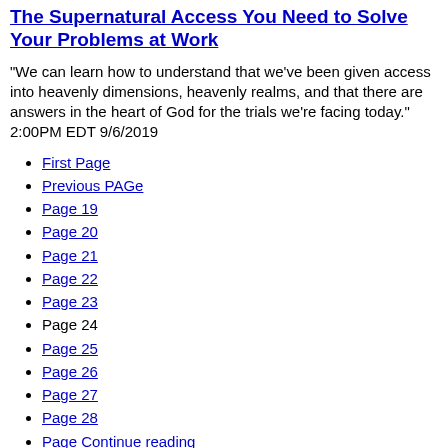The Supernatural Access You Need to Solve Your Problems at Work
"We can learn how to understand that we've been given access into heavenly dimensions, heavenly realms, and that there are answers in the heart of God for the trials we're facing today." 2:00PM EDT 9/6/2019
First Page
Previous PAGe
Page 19
Page 20
Page 21
Page 22
Page 23
Page 24
Page 25
Page 26
Page 27
Page 28
Page Continue reading
Last Page
Page 24 of 262